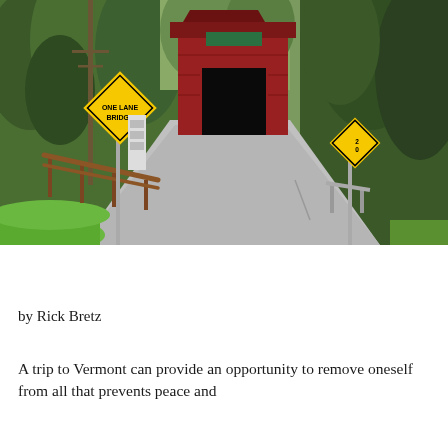[Figure (photo): A red covered bridge in a forested Vermont setting. A yellow diamond 'ONE LANE BRIDGE' warning sign is visible on the left side of the road, and a yellow diamond speed limit sign showing 20 is on the right. A wooden guardrail runs along the left side of the road leading to the bridge entrance. The road curves toward the bridge. Green trees surround the scene.]
by Rick Bretz
A trip to Vermont can provide an opportunity to remove oneself from all that prevents peace and